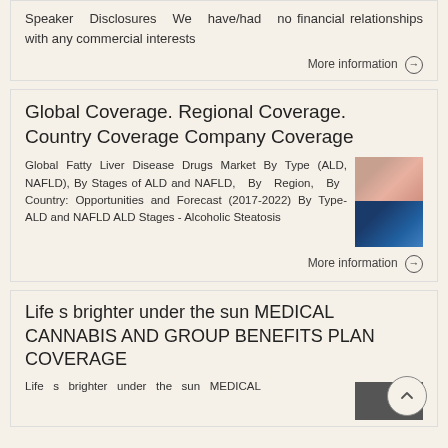Speaker Disclosures We have/had no financial relationships with any commercial interests
More information →
Global Coverage. Regional Coverage. Country Coverage Company Coverage
Global Fatty Liver Disease Drugs Market By Type (ALD, NAFLD), By Stages of ALD and NAFLD, By Region, By Country: Opportunities and Forecast (2017-2022) By Type- ALD and NAFLD ALD Stages - Alcoholic Steatosis
[Figure (photo): Thumbnail image showing medical/liver imagery in two panels - top with skin/anatomical imagery and bottom with blue-toned medical scan]
More information →
Life s brighter under the sun MEDICAL CANNABIS AND GROUP BENEFITS PLAN COVERAGE
Life s brighter under the sun MEDICAL
[Figure (photo): Thumbnail image for cannabis/benefits plan article]